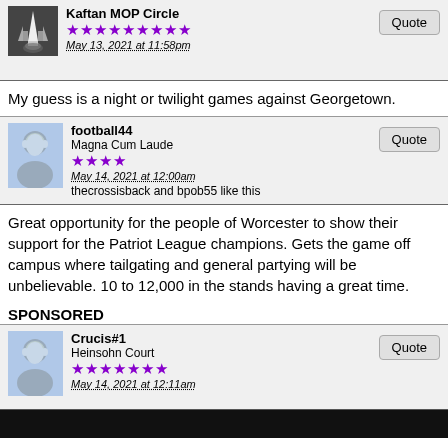Kaftan MOP Circle
May 13, 2021 at 11:58pm
My guess is a night or twilight games against Georgetown.
football44
Magna Cum Laude
May 14, 2021 at 12:00am
thecrossisback and bpob55 like this
Great opportunity for the people of Worcester to show their support for the Patriot League champions. Gets the game off campus where tailgating and general partying will be unbelievable. 10 to 12,000 in the stands having a great time.
SPONSORED
Crucis#1
Heinsohn Court
May 14, 2021 at 12:11am